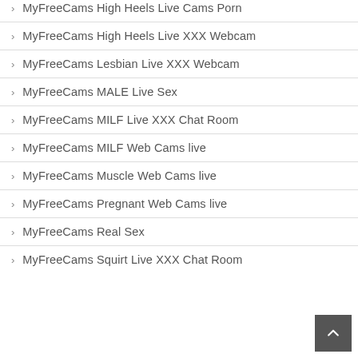MyFreeCams High Heels Live Cams Porn
MyFreeCams High Heels Live XXX Webcam
MyFreeCams Lesbian Live XXX Webcam
MyFreeCams MALE Live Sex
MyFreeCams MILF Live XXX Chat Room
MyFreeCams MILF Web Cams live
MyFreeCams Muscle Web Cams live
MyFreeCams Pregnant Web Cams live
MyFreeCams Real Sex
MyFreeCams Squirt Live XXX Chat Room